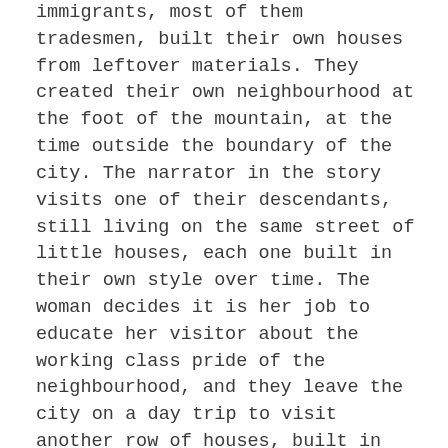immigrants, most of them tradesmen, built their own houses from leftover materials. They created their own neighbourhood at the foot of the mountain, at the time outside the boundary of the city. The narrator in the story visits one of their descendants, still living on the same street of little houses, each one built in their own style over time. The woman decides it is her job to educate her visitor about the working class pride of the neighbourhood, and they leave the city on a day trip to visit another row of houses, built in the same manner on the beachfront in a little town in the south, where those same people would go to spend their weekends in the summer. These immigrants built their communities from nothing outside official city